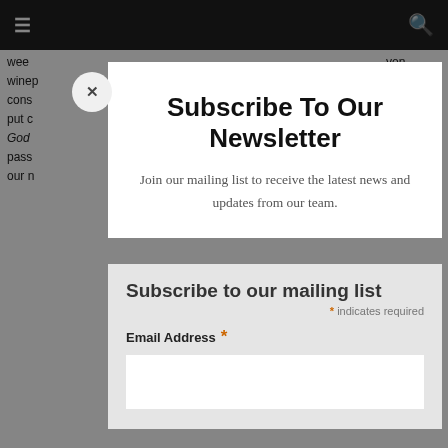☰  [navigation bar]  🔍
wee... ...yon
winep...
cons... ...an
put c... ...the
God... ...nese
pass... ...into
our n...
Subscribe To Our Newsletter
Join our mailing list to receive the latest news and updates from our team.
Rela... Kurt
Wille...
Jesu...
2) Dr... avior
or us... vine
crea... , the
exam... at
faith... our
goal... s a
Subscribe to our mailing list
* indicates required
Email Address *